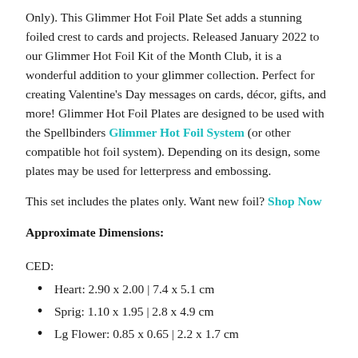Only). This Glimmer Hot Foil Plate Set adds a stunning foiled crest to cards and projects. Released January 2022 to our Glimmer Hot Foil Kit of the Month Club, it is a wonderful addition to your glimmer collection. Perfect for creating Valentine's Day messages on cards, décor, gifts, and more! Glimmer Hot Foil Plates are designed to be used with the Spellbinders Glimmer Hot Foil System (or other compatible hot foil system). Depending on its design, some plates may be used for letterpress and embossing.
This set includes the plates only. Want new foil? Shop Now
Approximate Dimensions:
CED:
Heart: 2.90 x 2.00 | 7.4 x 5.1 cm
Sprig: 1.10 x 1.95 | 2.8 x 4.9 cm
Lg Flower: 0.85 x 0.65 | 2.2 x 1.7 cm